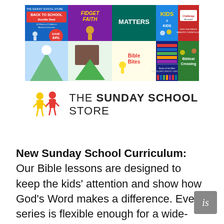[Figure (illustration): Promotional banner for The Sunday School Store showing various children's ministry curriculum products including Back to School Bundle Deal (Save 84%), Fidgets & Faith, Matters, Kids 4 Kids, Ten Commandments, Bible Bites, Books of the Bible, and Biblical Crossing]
[Figure (logo): The Sunday School Store logo — two child figures (yellow and red) beside text reading THE SUNDAY SCHOOL STORE]
New Sunday School Curriculum: Our Bible lessons are designed to keep the kids' attention and show how God's Word makes a difference. Every series is flexible enough for a wide-age group and affordable enough for small...